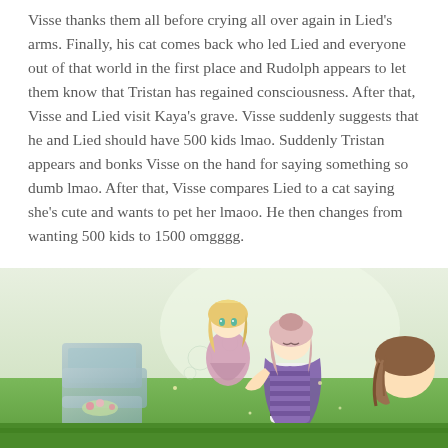Visse thanks them all before crying all over again in Lied's arms. Finally, his cat comes back who led Lied and everyone out of that world in the first place and Rudolph appears to let them know that Tristan has regained consciousness. After that, Visse and Lied visit Kaya's grave. Visse suddenly suggests that he and Lied should have 500 kids lmao. Suddenly Tristan appears and bonks Visse on the hand for saying something so dumb lmao. After that, Visse compares Lied to a cat saying she's cute and wants to pet her lmaoo. He then changes from wanting 500 kids to 1500 omgggg.
[Figure (illustration): Manga-style illustration showing anime characters in an outdoor setting. A blonde girl, a pink-haired character in a striped outfit, and a brown-haired character are depicted near what appear to be grave markers on green grass.]